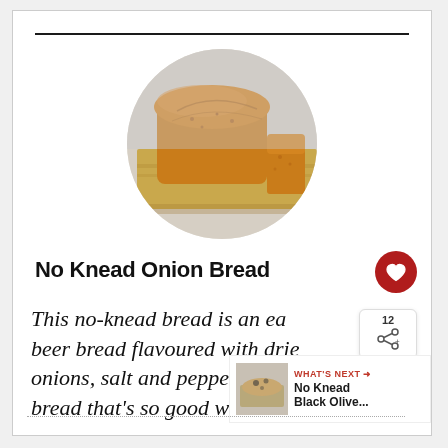[Figure (photo): Circular photo of a golden-brown no-knead onion bread loaf on a wooden cutting board, sliced to show texture]
No Knead Onion Bread
This no-knead bread is an easy beer bread flavoured with dried onions, salt and pepper. A rustic bread that's so good with
[Figure (infographic): WHAT'S NEXT arrow label with thumbnail of No Knead Black Olive bread and text 'No Knead Black Olive...']